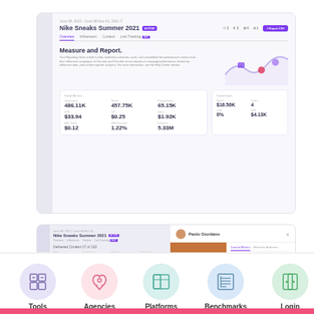[Figure (screenshot): Campaign reporting dashboard screenshot showing Nike Sneaks Summer 2021 campaign with Social Metrics (Impressions: 486.11K, Reach: 457.75K, Engagements: 65.15K, CPE: $33.94, CPL: $0.25, Sales: $1.92K, EMV Share: $0.12, EMV Reached: 1.22%, Followers: 5.33M) and Conversions (Spend: $16.50K, Orders: 4, CTR: 0%, GPV: $4.13K) panels, with wave illustration and social icons.]
[Figure (screenshot): Lower campaign detail screenshot showing influencer content list on left and influencer profile panel (Paolo Giordano) on right with photo of sneakers and metrics tabs.]
[Figure (infographic): Navigation icon row: Tools (grid icon, lavender circle), Agencies (rocket icon, pink circle), Platforms (layout icon, teal circle), Benchmarks (newspaper icon, blue circle), Login (door icon, green circle)]